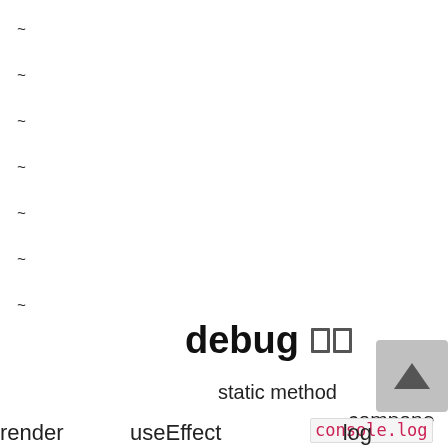~
~
~
~
~
~
~
~
~
debug 🔲🔲
static method
component
render   useEffect   console.log   log